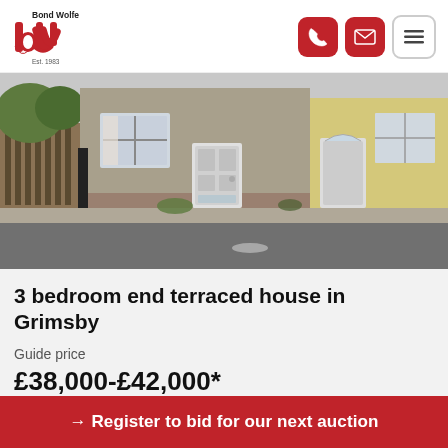[Figure (logo): Bond Wolfe logo - red stylized 'bw' letters with 'Bond Wolfe' text above and 'Est. 1983' below]
[Figure (photo): Street-level photograph of terraced houses in Grimsby. Shows end-of-terrace property with grey pebbledash render, white front door, and adjacent yellow-painted terraced house. Wooden fence and greenery visible on left.]
3 bedroom end terraced house in Grimsby
Guide price
£38,000-£42,000*
→ Register to bid for our next auction